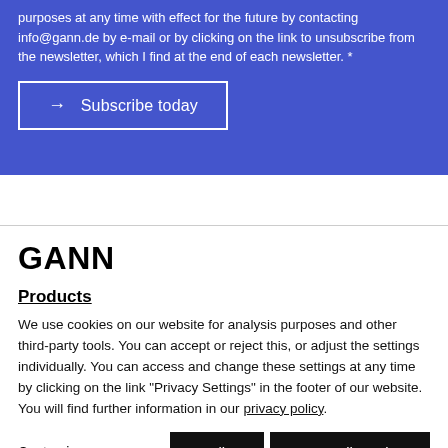purposes at any time with effect for the future by contacting info@gann.de by e-mail or by clicking on the link to unsubscribe from the newsletter, which I find at the end of each newsletter. *
→  Subscribe today
GANN
Products
We use cookies on our website for analysis purposes and other third-party tools. You can accept or reject this, or adjust the settings individually. You can access and change these settings at any time by clicking on the link "Privacy Settings" in the footer of our website. You will find further information in our privacy policy.
Customize...   Decline   Accept all services